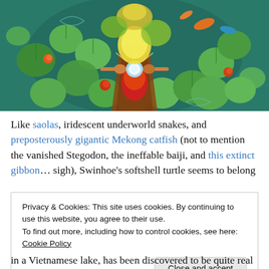[Figure (illustration): Colorful digital illustration viewed from above of a figure in a boat on a teal-green pond surrounded by lily pads with orange and red flowers, fish swimming around, and a glowing orb held by the figure]
Like saolas, iridescent underworld snakes, and preposterously gigantic Mekong catfish (not to mention the vanished Stegodon, the ineffable baiji, and this extinct gibbon… sigh), Swinhoe's softshell turtle seems to belong
Privacy & Cookies: This site uses cookies. By continuing to use this website, you agree to their use.
To find out more, including how to control cookies, see here: Cookie Policy
in a Vietnamese lake, has been discovered to be quite real